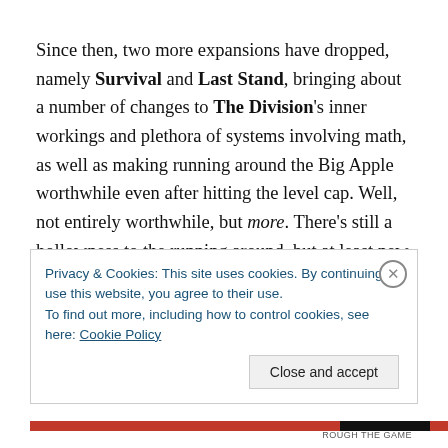Since then, two more expansions have dropped, namely Survival and Last Stand, bringing about a number of changes to The Division's inner workings and plethora of systems involving math, as well as making running around the Big Apple worthwhile even after hitting the level cap. Well, not entirely worthwhile, but more. There's still a hollowness to the running around, but at least new meters are filling up and check boxes are being checked on a
Privacy & Cookies: This site uses cookies. By continuing to use this website, you agree to their use.
To find out more, including how to control cookies, see here: Cookie Policy
Close and accept